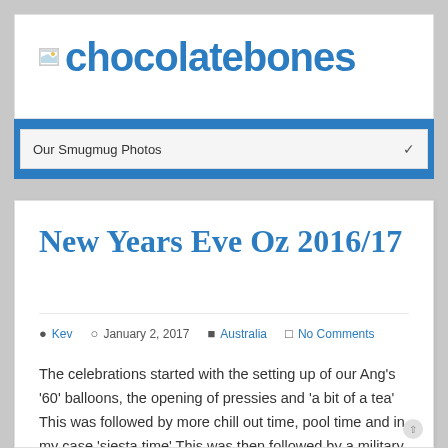chocolatebones
Our Smugmug Photos
New Years Eve Oz 2016/17
Kev  January 2, 2017  Australia  No Comments
The celebrations started with the setting up of our Ang's '60' balloons, the opening of pressies and 'a bit of a tea' This was followed by more chill out time, pool time and in my case 'siesta time' This was then followed by a military style operation loading all the booze ( enough to sink a small battleship … )